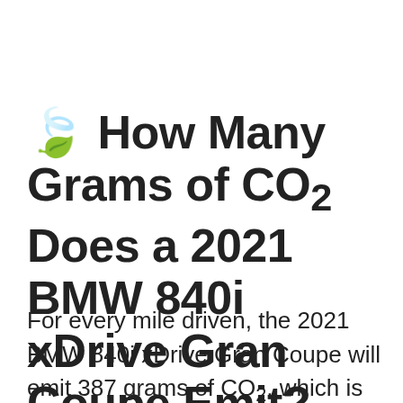🌿 How Many Grams of CO₂ Does a 2021 BMW 840i xDrive Gran Coupe Emit?
For every mile driven, the 2021 BMW 840i xDrive Gran Coupe will emit 387 grams of CO₂, which is about 5,805,000 grams of CO₂ per year.